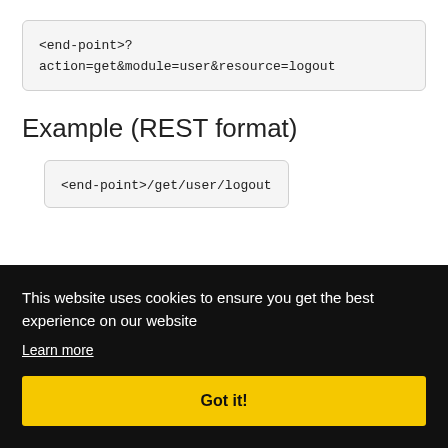<end-point>?action=get&module=user&resource=logout
Example (REST format)
<end-point>/get/user/logout
This website uses cookies to ensure you get the best experience on our website
Learn more
Got it!